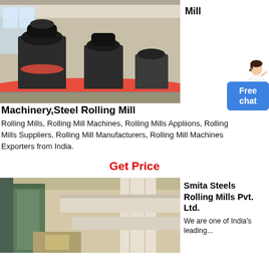[Figure (photo): Industrial rolling mill machinery in a large factory hall with multiple large black machines on a red circular platform]
Mill
Machinery,Steel Rolling Mill
Rolling Mills, Rolling Mill Machines, Rolling Mills Appliions, Rolling Mills Suppliers, Rolling Mill Manufacturers, Rolling Mill Machines Exporters from India.
Get Price
[Figure (photo): Industrial steel rolling mill interior with green machinery and large white cylindrical structures and ducts]
Smita Steels Rolling Mills Pvt. Ltd.
We are one of India's leading...